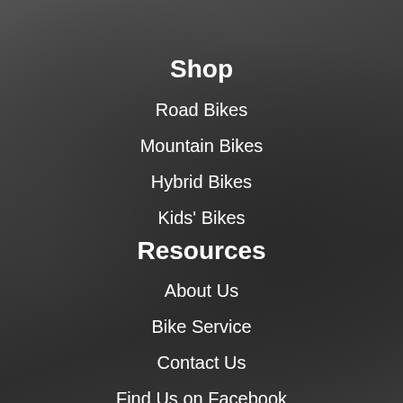Shop
Road Bikes
Mountain Bikes
Hybrid Bikes
Kids' Bikes
Resources
About Us
Bike Service
Contact Us
Find Us on Facebook